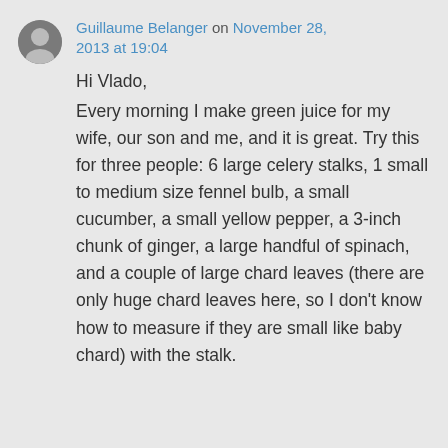Guillaume Belanger on November 28, 2013 at 19:04
Hi Vlado, Every morning I make green juice for my wife, our son and me, and it is great. Try this for three people: 6 large celery stalks, 1 small to medium size fennel bulb, a small cucumber, a small yellow pepper, a 3-inch chunk of ginger, a large handful of spinach, and a couple of large chard leaves (there are only huge chard leaves here, so I don't know how to measure if they are small like baby chard) with the stalk.